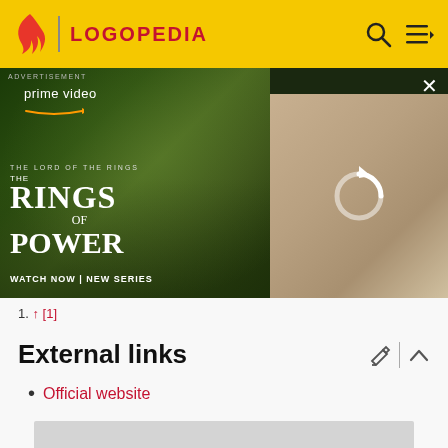LOGOPEDIA
[Figure (photo): Amazon Prime Video advertisement for 'The Lord of the Rings: The Rings of Power' - shows two characters from the show with text 'prime video', 'THE LORD OF THE RINGS', 'THE RINGS OF POWER', 'WATCH NOW | NEW SERIES'. Right panel shows a refresh/loading icon over a scene with a blonde woman.]
1. ↑ [1]
External links
Official website